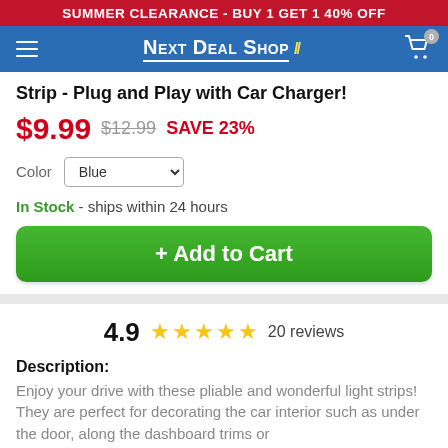SUMMER CLEARANCE - BUY 1 GET 1 40% OFF
[Figure (screenshot): Next Deal Shop navigation bar with hamburger menu, logo, and cart icon showing 0 items]
Strip - Plug and Play with Car Charger!
$9.99  $12.99  SAVE 23%
Color  Blue
In Stock - ships within 24 hours
+ Add to Cart
4.9  ★★★★★  20 reviews
Description:
Enjoy your drive with these pliable and wonderful light strips! They are perfect for decorating the car interior such as under the door, along the dashboard trims or